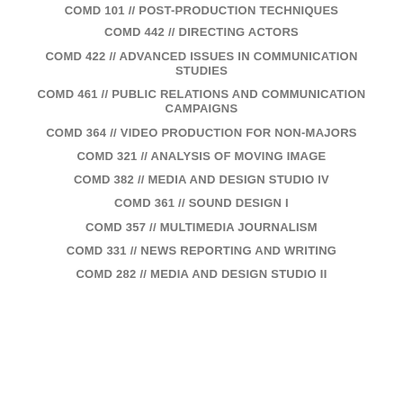COMD 101 // POST-PRODUCTION TECHNIQUES
COMD 442 // DIRECTING ACTORS
COMD 422 // ADVANCED ISSUES IN COMMUNICATION STUDIES
COMD 461 // PUBLIC RELATIONS AND COMMUNICATION CAMPAIGNS
COMD 364 // VIDEO PRODUCTION FOR NON-MAJORS
COMD 321 // ANALYSIS OF MOVING IMAGE
COMD 382 // MEDIA AND DESIGN STUDIO IV
COMD 361 // SOUND DESIGN I
COMD 357 // MULTIMEDIA JOURNALISM
COMD 331 // NEWS REPORTING AND WRITING
COMD 282 // MEDIA AND DESIGN STUDIO II